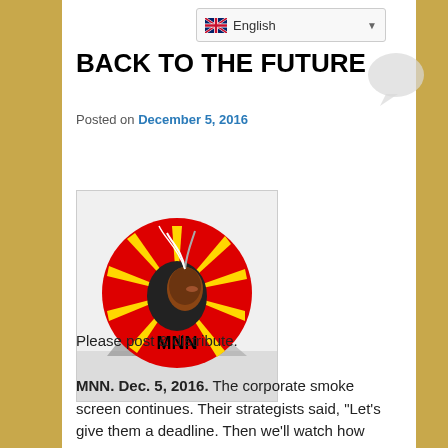English (language selector dropdown)
BACK TO THE FUTURE
Posted on December 5, 2016
[Figure (logo): MNN logo: red circle with yellow sunburst rays and Native American profile silhouette, text MNN below, with trees in foreground]
Please post & distribute.
MNN. Dec. 5, 2016. The corporate smoke screen continues. Their strategists said, “Let’s give them a deadline. Then we’ll watch how they, the country and world reacts. At the last minute we’ll introduce a fake plan